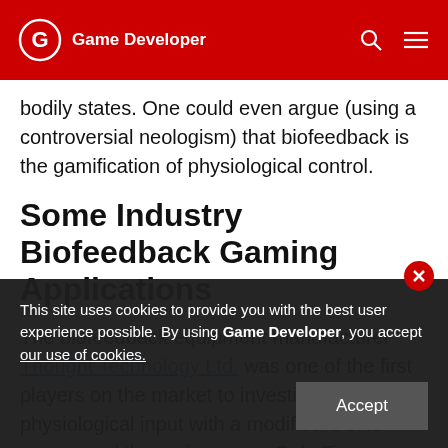Game Developer
bodily states. One could even argue (using a controversial neologism) that biofeedback is the gamification of physiological control.
Some Industry Biofeedback Gaming Applications
The biofeedback equipment manufacturer Thought Technology Ltd. was one of the first players on the market to investigate physiological input with a modified GSR2 sensor and the racing game CalmFix
This site uses cookies to provide you with the best user experience possible. By using Game Developer, you accept our use of cookies.